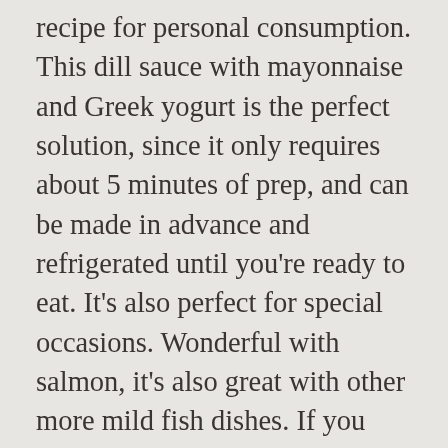recipe for personal consumption. This dill sauce with mayonnaise and Greek yogurt is the perfect solution, since it only requires about 5 minutes of prep, and can be made in advance and refrigerated until you're ready to eat. It's also perfect for special occasions. Wonderful with salmon, it's also great with other more mild fish dishes. If you want to make this recipe paleo friendly, try making a cashew-based sour cream or replace the sour cream with a paleo-friendly homemade mayonnaise . For another simple salmon recipe, try our salmon with lemon and dill, salmon with garlic caper butter or this one-pan oven roasted salmon and green beans. ½ cup sour cream1 ½ tablespoons Dijon-